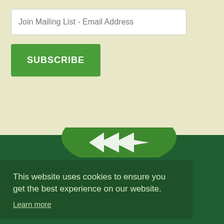Join Mailing List - Email Address
SUBSCRIBE
[Figure (logo): Green circular logo with white arrow/chevron shapes, partially visible at top of dark green footer section]
This website uses cookies to ensure you get the best experience on our website.
Learn more
x